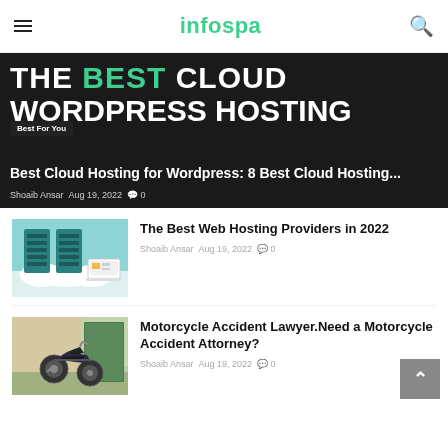infospa
[Figure (photo): Hero banner with text 'THE BEST CLOUD WORDPRESS HOSTING' in large white and teal letters on dark background, with article title and metadata overlay]
Best Cloud Hosting for Wordpress: 8 Best Cloud Hosting...
Shoaib Ansar  Aug 19, 2022  0
[Figure (photo): Thumbnail image showing blue server racks with cloud below on teal background]
The Best Web Hosting Providers in 2022
Shoaib Ansar  Aug 19, 2022  0
[Figure (photo): Thumbnail image showing a motorcycle parked near a wall]
Motorcycle Accident Lawyer.Need a Motorcycle Accident Attorney?
Shoaib Ansar  Aug 19, 2022  0